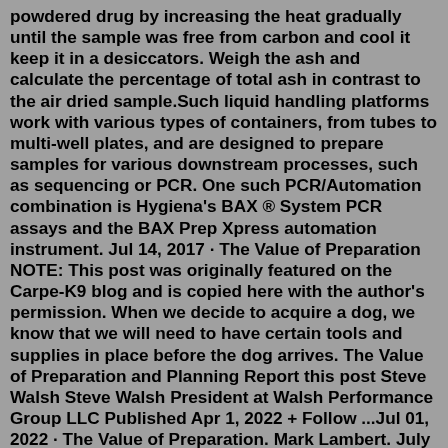powdered drug by increasing the heat gradually until the sample was free from carbon and cool it keep it in a desiccators. Weigh the ash and calculate the percentage of total ash in contrast to the air dried sample.Such liquid handling platforms work with various types of containers, from tubes to multi-well plates, and are designed to prepare samples for various downstream processes, such as sequencing or PCR. One such PCR/Automation combination is Hygiena's BAX ® System PCR assays and the BAX Prep Xpress automation instrument. Jul 14, 2017 · The Value of Preparation NOTE: This post was originally featured on the Carpe-K9 blog and is copied here with the author's permission. When we decide to acquire a dog, we know that we will need to have certain tools and supplies in place before the dog arrives. The Value of Preparation and Planning Report this post Steve Walsh Steve Walsh President at Walsh Performance Group LLC Published Apr 1, 2022 + Follow ...Jul 01, 2022 · The Value of Preparation. Mark Lambert. July 01, 2022 A good